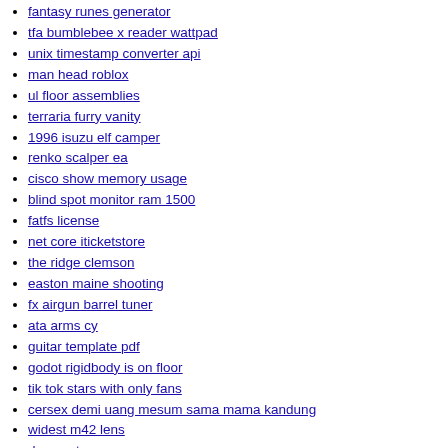fantasy runes generator
tfa bumblebee x reader wattpad
unix timestamp converter api
man head roblox
ul floor assemblies
terraria furry vanity
1996 isuzu elf camper
renko scalper ea
cisco show memory usage
blind spot monitor ram 1500
fatfs license
net core iticketstore
the ridge clemson
easton maine shooting
fx airgun barrel tuner
ata arms cy
guitar template pdf
godot rigidbody is on floor
tik tok stars with only fans
cersex demi uang mesum sama mama kandung
widest m42 lens
dwc system
filipino movies about barkada
meade etx 125 manual
rtu fanuc